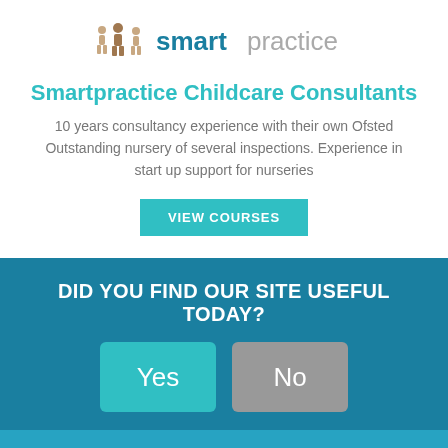[Figure (logo): Smartpractice logo with stylized figures and bold text reading 'smartpractice']
Smartpractice Childcare Consultants
10 years consultancy experience with their own Ofsted Outstanding nursery of several inspections. Experience in start up support for nurseries
VIEW COURSES
DID YOU FIND OUR SITE USEFUL TODAY?
Yes
No